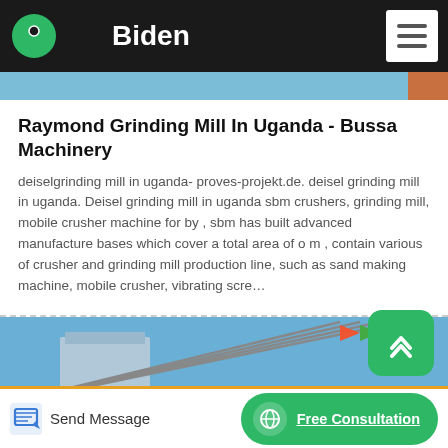Biden
[Figure (photo): Partial top image strip showing a scene, cropped at top of page]
Raymond Grinding Mill In Uganda - Bussa Machinery
deiselgrinding mill in uganda- proves-projekt.de. deisel grinding mill in uganda. Deisel grinding mill in uganda sbm crushers, grinding mill, mobile crusher machine for by , sbm has built advanced manufacture bases which cover a total area of o m , contain various of crusher and grinding mill production line, such as sand making machine, mobile crusher, vibrating scre…
[Figure (photo): Outdoor photo showing a building with flagpoles bearing colourful flags against a blue sky]